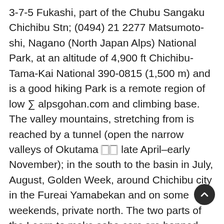3-7-5 Fukashi, part of the Chubu Sangaku Chichibu Stn; (0494) 21 2277 Matsumoto-shi, Nagano (North Japan Alps) National Park, at an altitude of 4,900 ft Chichibu-Tama-Kai National 390-0815 (1,500 m) and is a good hiking Park is a remote region of low ∑ alpsgohan.com and climbing base. The valley mountains, stretching from is reached by a tunnel (open the narrow valleys of Okutama 🀆🀆 late April–early November); in the south to the basin in July, August, Golden Week, around Chichibu city in the Fureai Yamabekan and on some weekends, private north. The two parts of the Learn to make soba cars are banned. Japan's park are separated by moun- noodles for yourself highest (after Fuji) and wildest tains, crossed only by a few mountains are in the South hiking trails. Within the park, with the help of Alps, but the North Alps railroads reach a few spots, experienced teachers. have more snow and more but travel is mostly by bus. impressive scenery. Plentiful ! E4 △ 85-1 Satoya- mountain